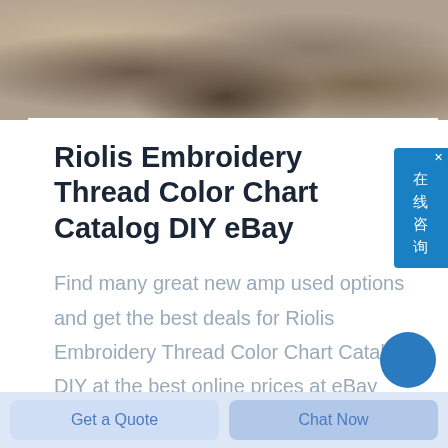[Figure (photo): Aerial or close-up photo of rocky/gravelly terrain or earth material, shown as a strip at the top of the page]
Riolis Embroidery Thread Color Chart Catalog DIY eBay
Find many great new amp used options and get the best deals for Riolis Embroidery Thread Color Chart Catalog DIY at the best online prices at eBay Free shipping for many products
[Figure (infographic): Blue circular chat button partially visible at bottom right of white card area]
Get a Quote
Chat Now